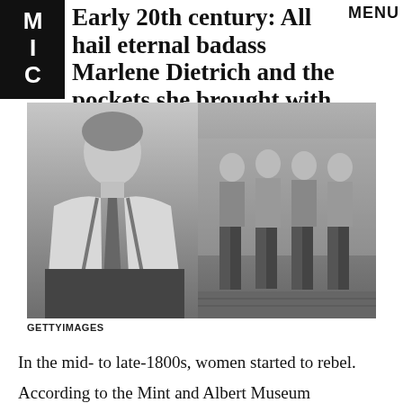MIC
Early 20th century: All hail eternal badass Marlene Dietrich and the pockets she brought with her.
[Figure (photo): Two black-and-white photographs side by side. Left: Marlene Dietrich in a shirt, tie, and suspenders. Right: A group of women in military-style trousers standing together on a cobblestone street.]
GETTY IMAGES
In the mid- to late-1800s, women started to rebel.
According to the Mint and Albert Museum